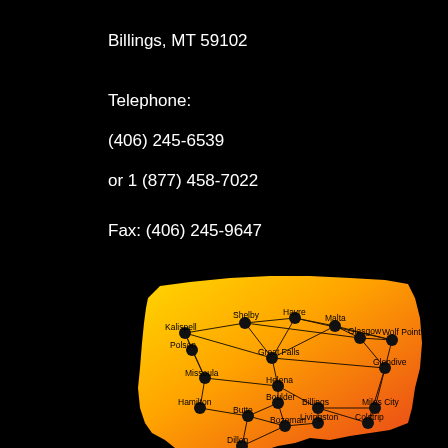Billings, MT 59102
Telephone:
(406) 245-6539
or 1 (877) 458-7022
Fax: (406) 245-9647
[Figure (map): Map of Montana showing a network graph of cities connected by lines, with cities marked by black dots. Cities include Kalispell, Polson, Shelby, Havre, Malta, Glasgow, Wolf Point, Glendive, Great Falls, Missoula, Helena, Boulder, Hamilton, Butte, Bozeman, Dillon, Livingston, Billings, Miles City, Colstrip. The map uses a yellow-to-orange-to-red gradient fill.]